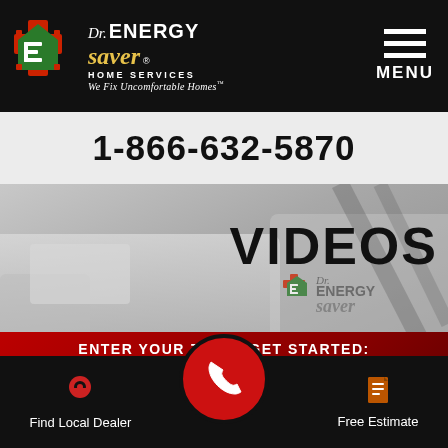Dr. ENERGY saver HOME SERVICES — We Fix Uncomfortable Homes™ | MENU
1-866-632-5870
VIDEOS
ENTER YOUR ZIP TO GET STARTED:
Enter Zip Code | FIND NOW | ↑ Top
[Figure (logo): Dr. Energy Saver Home Services logo with red/green house icon]
Find Local Dealer
Free Estimate